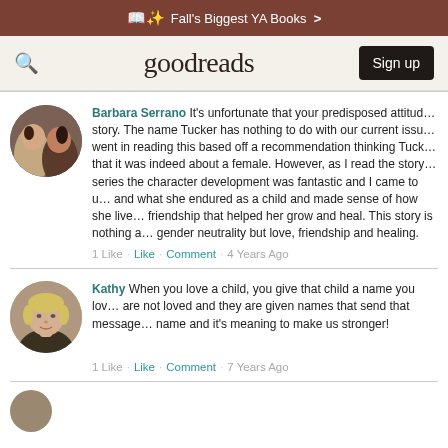Fall's Biggest YA Books >
goodreads  Sign up
Barbara Serrano It's unfortunate that your predisposed attitude affected your reading of this story. The name Tucker has nothing to do with our current issue. I went in reading this based off a recommendation thinking Tucker was a male and found that it was indeed about a female. However, as I read the story and later the rest of the series the character development was fantastic and I came to understand Tucker's past and what she endured as a child and made sense of how she lived her life and the friendship that helped her grow and heal. This story is nothing about gender neutrality but love, friendship and healing.
1 Like · Like · Comment · 4 Years Ago
Kathy When you love a child, you give that child a name you love. Children who are not loved and they are given names that send that message. Tucker used her name and it's meaning to make us stronger!
1 Like · Like · Comment · 7 Years Ago